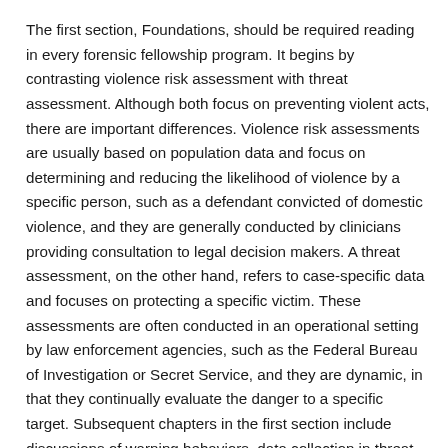The first section, Foundations, should be required reading in every forensic fellowship program. It begins by contrasting violence risk assessment with threat assessment. Although both focus on preventing violent acts, there are important differences. Violence risk assessments are usually based on population data and focus on determining and reducing the likelihood of violence by a specific person, such as a defendant convicted of domestic violence, and they are generally conducted by clinicians providing consultation to legal decision makers. A threat assessment, on the other hand, refers to case-specific data and focuses on protecting a specific victim. These assessments are often conducted in an operational setting by law enforcement agencies, such as the Federal Bureau of Investigation or Secret Service, and they are dynamic, in that they continually evaluate the danger to a specific target. Subsequent chapters in the first section include discussions of warning behaviors, data collection in threat assessments, and legal concerns.